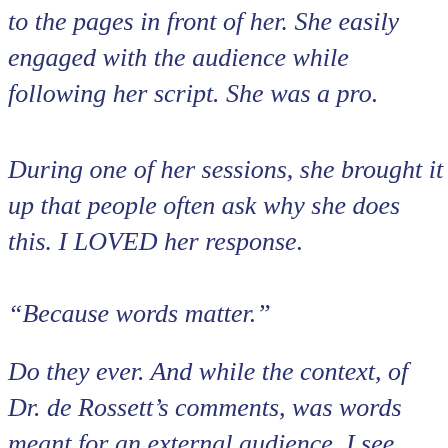to the pages in front of her. She easily engaged with the audience while following her script. She was a pro.
During one of her sessions, she brought it up that people often ask why she does this. I LOVED her response.
“Because words matter.”
Do they ever. And while the context, of Dr. de Rossett’s comments, was words meant for an external audience, I see